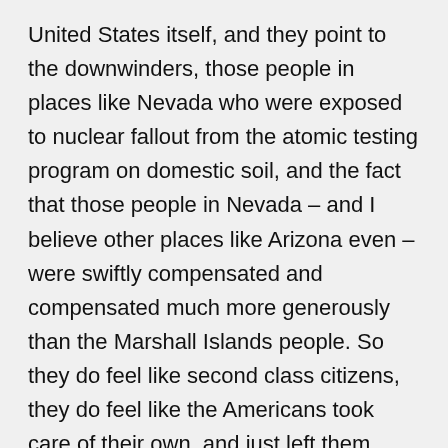United States itself, and they point to the downwinders, those people in places like Nevada who were exposed to nuclear fallout from the atomic testing program on domestic soil, and the fact that those people in Nevada – and I believe other places like Arizona even – were swiftly compensated and compensated much more generously than the Marshall Islands people. So they do feel like second class citizens, they do feel like the Americans took care of their own, and just left them dangling, if you like, and to deal with this toxic legacy.
CURWOOD: Mark Willacy is a reporter with The Australian Broadcasting Corporation. Mark, thanks so much for taking the time with us today.
WILLACY: Many thanks, Steve!
CURWOOD: We contacted the Department of Energy's